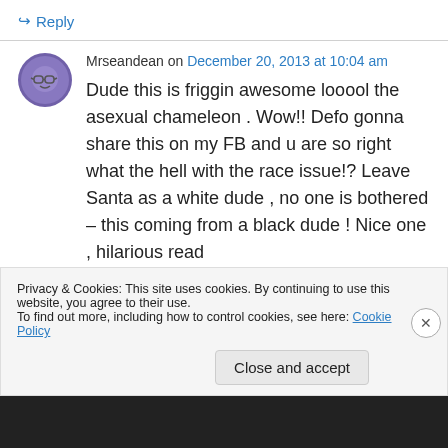↳ Reply
Mrseandean on December 20, 2013 at 10:04 am
Dude this is friggin awesome looool the asexual chameleon . Wow!! Defo gonna share this on my FB and u are so right what the hell with the race issue!? Leave Santa as a white dude , no one is bothered – this coming from a black dude ! Nice one , hilarious read
Privacy & Cookies: This site uses cookies. By continuing to use this website, you agree to their use. To find out more, including how to control cookies, see here: Cookie Policy
Close and accept